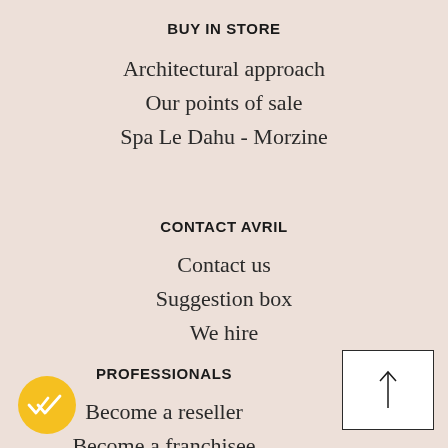BUY IN STORE
Architectural approach
Our points of sale
Spa Le Dahu - Morzine
CONTACT AVRIL
Contact us
Suggestion box
We hire
PROFESSIONALS
Become a reseller
Become a franchisee
[Figure (other): White square box with an upward-pointing arrow icon in the center, used as a scroll-to-top or navigation button]
[Figure (other): Yellow circular badge with a double-checkmark icon in white, indicating verification or quality approval]